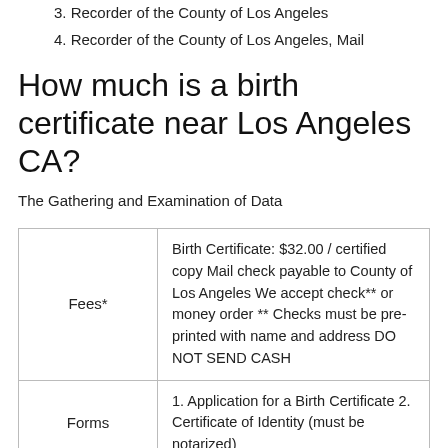3. Recorder of the County of Los Angeles
4. Recorder of the County of Los Angeles, Mail
How much is a birth certificate near Los Angeles CA?
The Gathering and Examination of Data
| Fees* | Birth Certificate: $32.00 / certified copy Mail check payable to County of Los Angeles We accept check** or money order ** Checks must be pre-printed with name and address DO NOT SEND CASH |
| Forms | 1. Application for a Birth Certificate 2. Certificate of Identity (must be notarized) |
You might be interested: How To Get A Birth